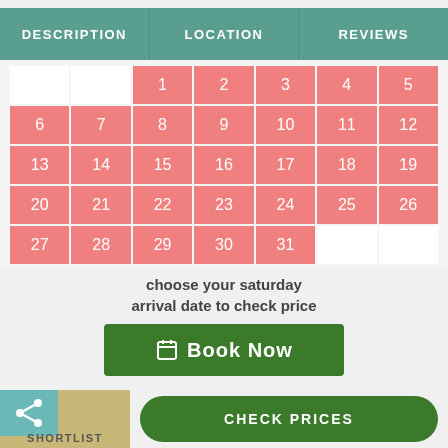DESCRIPTION | LOCATION | REVIEWS
|  |  | 1 | 2 | 3 | 4 | 5 |
| 6 | 7 | 8 | 9 | 10 | 11 | 12 |
| 13 | 14 | 15 | 16 | 17 | 18 | 19 |
| 20 | 21 | 22 | 23 | 24 | 25 | 26 |
| 27 | 28 | 29 | 30 | 31 |  |  |
choose your saturday arrival date to check price
Book Now
CHECK PRICES
SHORTLIST